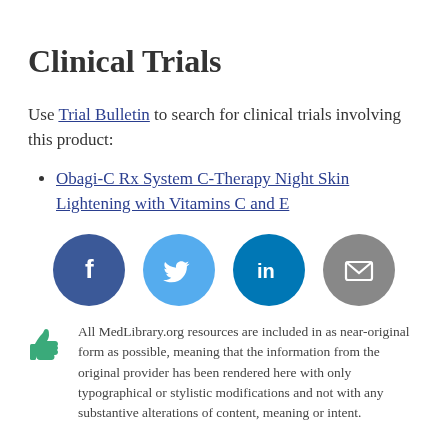Clinical Trials
Use Trial Bulletin to search for clinical trials involving this product:
Obagi-C Rx System C-Therapy Night Skin Lightening with Vitamins C and E
[Figure (infographic): Four social sharing icons in circles: Facebook (dark blue), Twitter (light blue), LinkedIn (teal), Email (gray)]
All MedLibrary.org resources are included in as near-original form as possible, meaning that the information from the original provider has been rendered here with only typographical or stylistic modifications and not with any substantive alterations of content, meaning or intent.